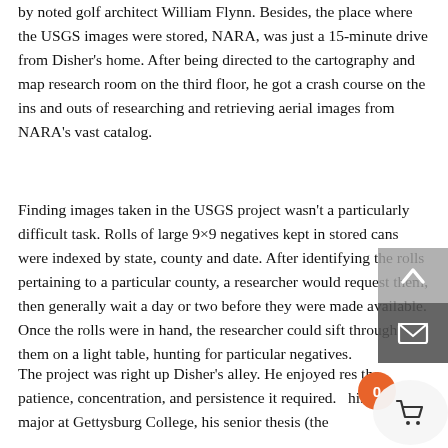by noted golf architect William Flynn. Besides, the place where the USGS images were stored, NARA, was just a 15-minute drive from Disher's home. After being directed to the cartography and map research room on the third floor, he got a crash course on the ins and outs of researching and retrieving aerial images from NARA's vast catalog.
Finding images taken in the USGS project wasn't a particularly difficult task. Rolls of large 9×9 negatives kept in stored cans were indexed by state, county and date. After identifying the rolls pertaining to a particular county, a researcher would request them, then generally wait a day or two before they were made available. Once the rolls were in hand, the researcher could sift through them on a light table, hunting for particular negatives.
The project was right up Disher's alley. He enjoyed res the patience, concentration, and persistence it required. history major at Gettysburg College, his senior thesis (the